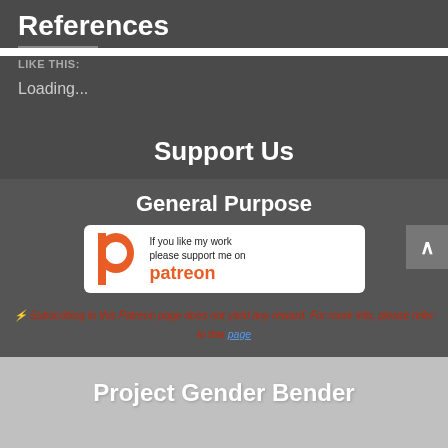References
LIKE THIS:
Loading...
Support Us
General Purpose
[Figure (logo): Patreon support badge with Patreon logo and text 'If you like my work please support me on patreon']
⚡ Subscribing to this Patreon page does not yield any reward. For more info, please refer to this page
Project Gender Bender